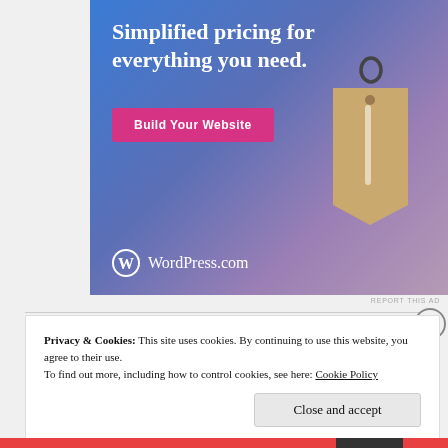[Figure (screenshot): WordPress.com advertisement banner with gradient blue-purple background, showing 'Simplified pricing for everything you need.' headline, a 'Build Your Website' pink button, a hanging price tag illustration, and the WordPress.com logo at the bottom.]
REPORT THIS AD
Privacy & Cookies: This site uses cookies. By continuing to use this website, you agree to their use.
To find out more, including how to control cookies, see here: Cookie Policy
Close and accept